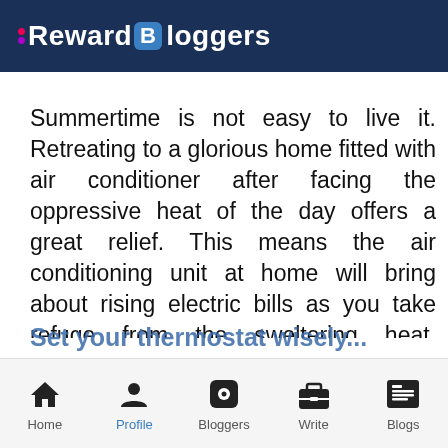Reward Bloggers
Summertime is not easy to live it. Retreating to a glorious home fitted with air conditioner after facing the oppressive heat of the day offers a great relief. This means the air conditioning unit at home will bring about rising electric bills as you take refuge from the sweltering heat. However, you can lower the bills by taking few proactive measures.
Home | Profile | Bloggers | Write | Blogs